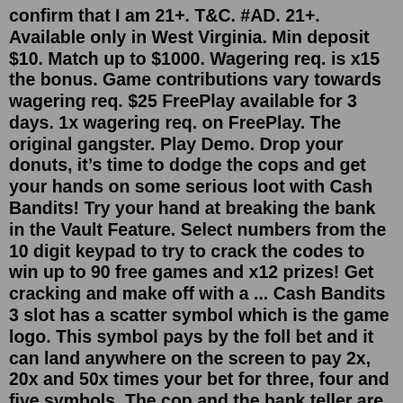confirm that I am 21+. T&C. #AD. 21+. Available only in West Virginia. Min deposit $10. Match up to $1000. Wagering req. is x15 the bonus. Game contributions vary towards wagering req. $25 FreePlay available for 3 days. 1x wagering req. on FreePlay. The original gangster. Play Demo. Drop your donuts, it's time to dodge the cops and get your hands on some serious loot with Cash Bandits! Try your hand at breaking the bank in the Vault Feature. Select numbers from the 10 digit keypad to try to crack the codes to win up to 90 free games and x12 prizes! Get cracking and make off with a ... Cash Bandits 3 slot has a scatter symbol which is the game logo. This symbol pays by the foll bet and it can land anywhere on the screen to pay 2x, 20x and 50x times your bet for three, four and five symbols. The cop and the bank teller are valuable too. The former pays between 5x and 2000x for and the latter pays between 5x and 1000x.Cash Bandits 2: Slot Gameplay. Speed: Set the spin speed to slow, medium, or fast by clicking on the button to the bottom left. Lines: You can vary